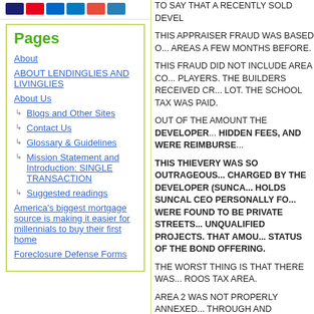[Figure (other): Payment method icons (Visa, Mastercard, Discover, Amex, others)]
Pages
About
ABOUT LENDINGLIES AND LIVINGLIES
About Us
Blogs and Other Sites
Contact Us
Glossary & Guidelines
Mission Statement and Introduction: SINGLE TRANSACTION
Suggested readings
America's biggest mortgage source is making it easier for millennials to buy their first home
Foreclosure Defense Forms
TO SAY THAT A RECENTLY SOLD DEVEL...
THIS APPRAISER FRAUD WAS BASED O... AREAS A FEW MONTHS BEFORE.
THIS FRAUD DID NOT INCLUDE AREA CO... PLAYERS. THE BUILDERS RECEIVED CR... LOT. THE SCHOOL TAX WAS PAID.
OUT OF THE AMOUNT THE DEVELOPER... HIDDEN FEES, AND WERE REIMBURSE...
THIS THIEVERY WAS SO OUTRAGEOUS... CHARGED BY THE DEVELOPER (SUNCA... HOLDS SUNCAL CEO PERSONALLY FO... WERE FOUND TO BE PRIVATE STREETS... UNQUALIFIED PROJECTS. THAT AMOU... STATUS OF THE BOND OFFERING.
THE WORST THING IS THAT THERE WAS... ROOS TAX AREA.
AREA 2 WAS NOT PROPERLY ANNEXED... THROUGH AND SOUTHWEST SECURITI... APPROVED IT. THE OFFERING WAS SOL...
AREA 2 THE INELIGIBLE AREA BY ALL LA... ANNEXATION PROCEDURES. RECIEVED...